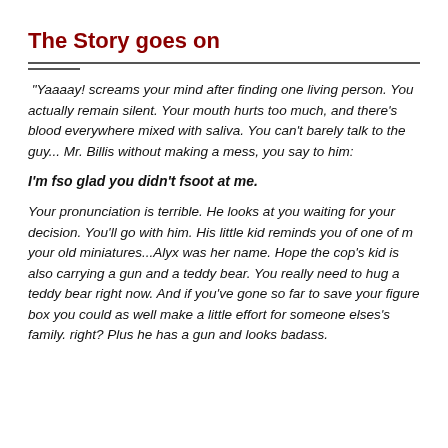The Story goes on
"Yaaaay! screams your mind after finding one living person. You actually remain silent. Your mouth hurts too much, and there's blood everywhere mixed with saliva. You can't barely talk to the guy... Mr. Billis without making a mess, you say to him:
I'm fso glad you didn't fsoot at me.
Your pronunciation is terrible. He looks at you waiting for your decision. You'll go with him. His little kid reminds you of one of m your old miniatures...Alyx was her name. Hope the cop's kid is also carrying a gun and a teddy bear. You really need to hug a teddy bear right now. And if you've gone so far to save your figure box you could as well make a little effort for someone elses's family. right? Plus he has a gun and looks badass.